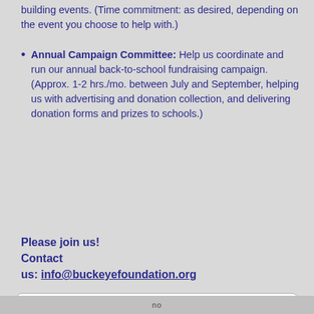building events. (Time commitment: as desired, depending on the event you choose to help with.)
Annual Campaign Committee: Help us coordinate and run our annual back-to-school fundraising campaign. (Approx. 1-2 hrs./mo. between July and September, helping us with advertising and donation collection, and delivering donation forms and prizes to schools.)
Please join us!
Contact us: info@buckeyefoundation.org
welcome you at our board meetings. We conduct most meetings via Zoom, with the occasional meeting held at the BUSD District Office Training Room.
Email info@buckeyefoundation.org for the zoom link for our next meeting.
no